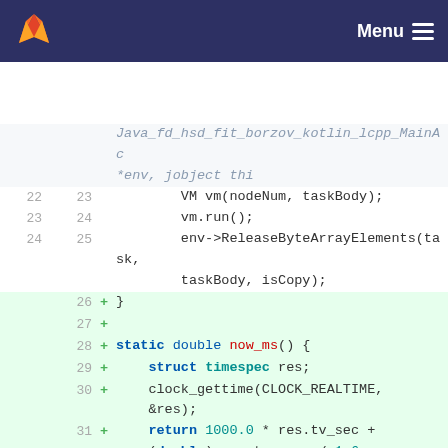[Figure (screenshot): GitLab navigation bar with logo and hamburger menu]
Code diff view showing C/C++ code changes including VM vm(nodeNum, taskBody);, vm.run();, env->ReleaseByteArrayElements(task, taskBody, isCopy); and new static functions now_ms() and diff() with struct timespec parameters.